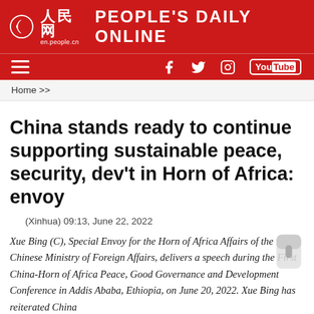人民网 PEOPLE'S DAILY ONLINE en.people.cn
Home >>
China stands ready to continue supporting sustainable peace, security, dev't in Horn of Africa: envoy
(Xinhua) 09:13, June 22, 2022
Xue Bing (C), Special Envoy for the Horn of Africa Affairs of the Chinese Ministry of Foreign Affairs, delivers a speech during the First China-Horn of Africa Peace, Good Governance and Development Conference in Addis Ababa, Ethiopia, on June 20, 2022. Xue Bing has reiterated China